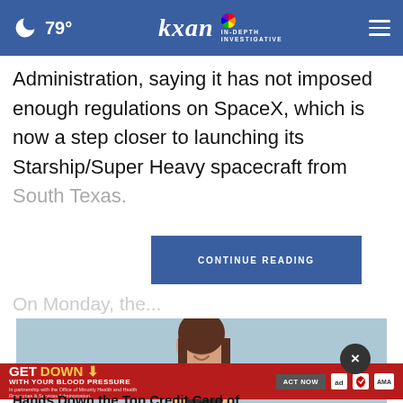79° kxan IN-DEPTH INVESTIGATIVE
Administration, saying it has not imposed enough regulations on SpaceX, which is now a step closer to launching its Starship/Super Heavy spacecraft from South Texas.
CONTINUE READING
On Monday, the...
[Figure (photo): Young woman smiling and holding a credit card against a light blue background]
[Figure (infographic): GET DOWN WITH YOUR BLOOD PRESSURE ad banner in red with ACT NOW button, ad council, American Heart Association, and AMA logos]
Hands Down the Top Credit Card of